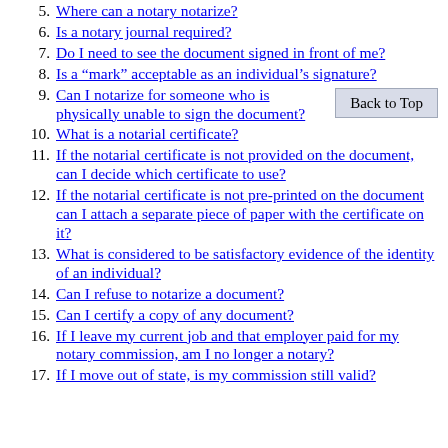5. Where can a notary notarize?
6. Is a notary journal required?
7. Do I need to see the document signed in front of me?
8. Is a “mark” acceptable as an individual’s signature?
9. Can I notarize for someone who is physically unable to sign the document?
10. What is a notarial certificate?
11. If the notarial certificate is not provided on the document, can I decide which certificate to use?
12. If the notarial certificate is not pre-printed on the document can I attach a separate piece of paper with the certificate on it?
13. What is considered to be satisfactory evidence of the identity of an individual?
14. Can I refuse to notarize a document?
15. Can I certify a copy of any document?
16. If I leave my current job and that employer paid for my notary commission, am I no longer a notary?
17. If I move out of state, is my commission still valid?